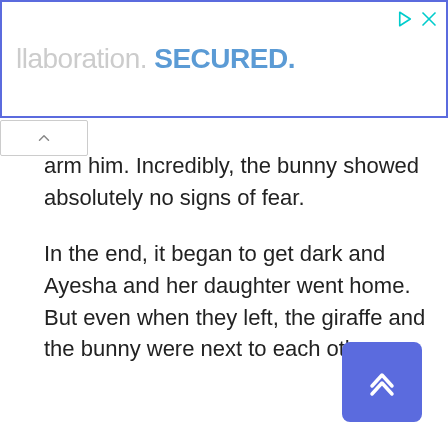[Figure (screenshot): Advertisement banner with blue border showing text 'llaboration. SECURED.' with play and close icons in top right]
...would crash the bunny. But he was so delicate and did not harm him. Incredibly, the bunny showed absolutely no signs of fear.
In the end, it began to get dark and Ayesha and her daughter went home. But even when they left, the giraffe and the bunny were next to each other.